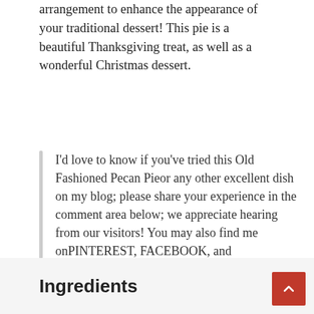arrangement to enhance the appearance of your traditional dessert! This pie is a beautiful Thanksgiving treat, as well as a wonderful Christmas dessert.
I'd love to know if you've tried this Old Fashioned Pecan Pie or any other excellent dish on my blog; please share your experience in the comment area below; we appreciate hearing from our visitors! You may also find me on PINTEREST, FACEBOOK, and INSTAGRAM, where I post many more delicious recipes!
Ingredients